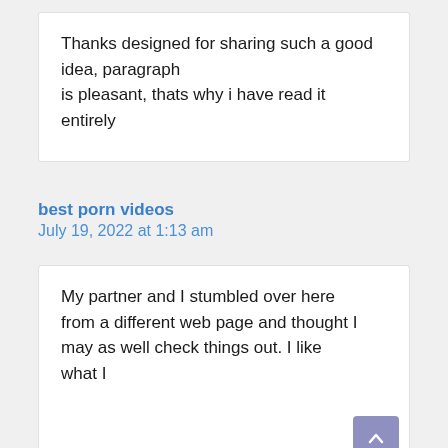Thanks designed for sharing such a good idea, paragraph is pleasant, thats why i have read it entirely
best porn videos
July 19, 2022 at 1:13 am
My partner and I stumbled over here from a different web page and thought I may as well check things out. I like what I